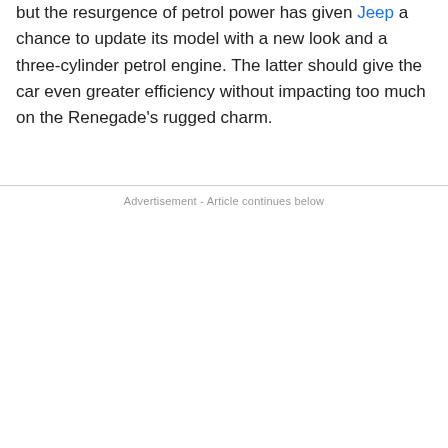but the resurgence of petrol power has given Jeep a chance to update its model with a new look and a three-cylinder petrol engine. The latter should give the car even greater efficiency without impacting too much on the Renegade's rugged charm.
Advertisement - Article continues below